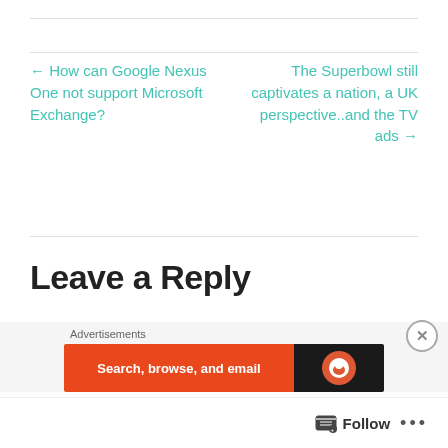← How can Google Nexus One not support Microsoft Exchange?
The Superbowl still captivates a nation, a UK perspective..and the TV ads →
Leave a Reply
Your email address will not be published. Required fields
[Figure (other): Advertisement banner: orange background with white text 'Search, browse, and email' and dark panel with circular logo on right. Close button (X) in circle. Advertisements label above.]
Follow  •••